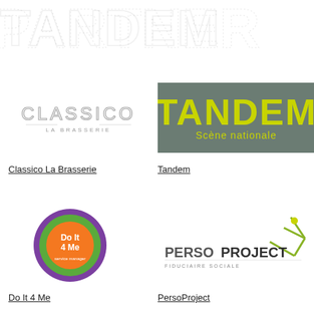[Figure (logo): Large decorative dotted/stippled text logo across the top of the page, light gray on white]
[Figure (logo): Classico La Brasserie logo in gray serif/sans letters with 'LA BRASSERIE' subtitle]
[Figure (logo): Tandem Scène nationale logo - gray-green background with yellow-green bold text 'TANDEM' and 'Scène nationale' subtitle]
Classico La Brasserie
Tandem
[Figure (logo): Do It 4 Me circular logo with orange, green, and purple concentric rings and text 'Do It 4 Me' in center]
[Figure (logo): PersoProject Fiduciaire Sociale logo with geometric figure icon and bold text]
Do It 4 Me
PersoProject